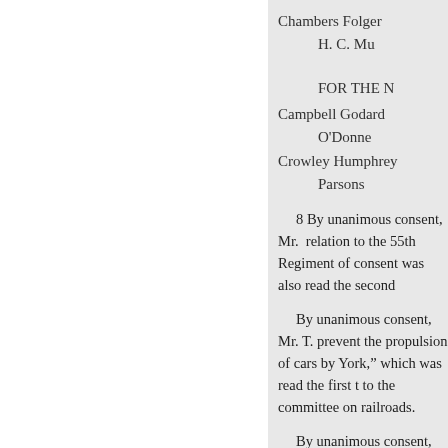Chambers Folger
H. C. Mu[rray]
FOR THE N[ew York]
Campbell Godard
O'Donne[ll]
Crowley Humphrey
Parsons
8 By unanimous consent, Mr. [T.] relation to the 55th Regiment of consent was also read the second
By unanimous consent, Mr. T. prevent the propulsion of cars by York,” which was read the first ti to the committee on railroads.
By unanimous consent, Mr. St incorporate the Merchants’ Mutu consent was also read the second
By unanimous consent, Mr. Go